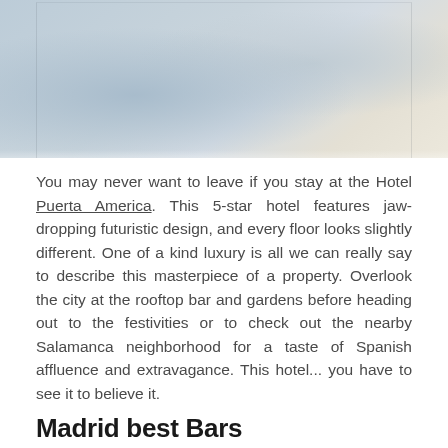[Figure (photo): Partial photo of Hotel Puerta America interior showing futuristic white curved design elements, cut off at the top of the page]
You may never want to leave if you stay at the Hotel Puerta America. This 5-star hotel features jaw-dropping futuristic design, and every floor looks slightly different. One of a kind luxury is all we can really say to describe this masterpiece of a property. Overlook the city at the rooftop bar and gardens before heading out to the festivities or to check out the nearby Salamanca neighborhood for a taste of Spanish affluence and extravagance. This hotel... you have to see it to believe it.
Madrid best Bars